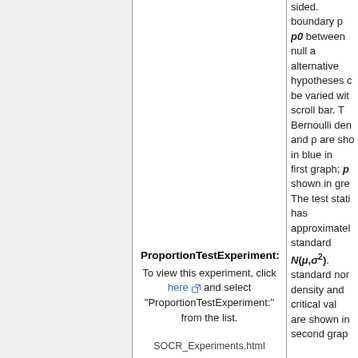sided. boundary p p0 between null and alternative hypotheses can be varied with scroll bar. The Bernoulli density and p are shown in blue in first graph; p0 shown in grey. The test statistic has approximately standard N(μ,σ²). standard normal density and critical values are shown in second graph.
ProportionTestExperiment:
To view this experiment, click here and select "ProportionTestExperiment:" from the list.
SOCR_Experiments.html